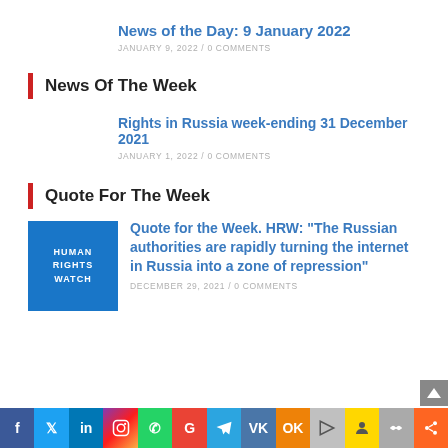News of the Day: 9 January 2022
JANUARY 9, 2022 / 0 COMMENTS
News Of The Week
Rights in Russia week-ending 31 December 2021
JANUARY 1, 2022 / 0 COMMENTS
Quote For The Week
[Figure (logo): Human Rights Watch logo — blue square with white text HUMAN RIGHTS WATCH]
Quote for the Week. HRW: “The Russian authorities are rapidly turning the internet in Russia into a zone of repression”
DECEMBER 29, 2021 / 0 COMMENTS
f  t  in  Instagram  WhatsApp  G  Telegram  VK  OK  Paint  Group  Link  Share